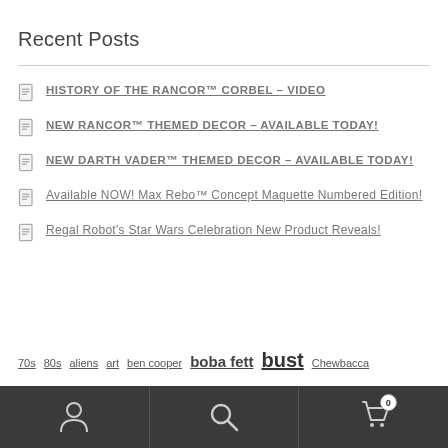Recent Posts
HISTORY OF THE RANCOR™ CORBEL – VIDEO
NEW RANCOR™ THEMED DECOR – AVAILABLE TODAY!
NEW DARTH VADER™ THEMED DECOR – AVAILABLE TODAY!
Available NOW! Max Rebo™ Concept Maquette Numbered Edition!
Regal Robot's Star Wars Celebration New Product Reveals!
70s  80s  aliens  art  ben cooper  boba fett  bust  Chewbacca